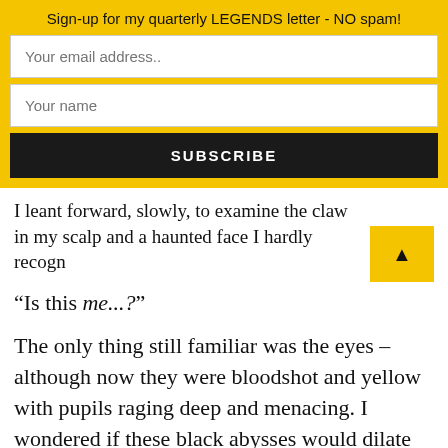Sign-up for my quarterly LEGENDS letter - NO spam!
Your email address..
Your name
SUBSCRIBE
I leant forward, slowly, to examine the claw in my scalp and a haunted face I hardly recogn
“Is this me...?”
The only thing still familiar was the eyes – although now they were bloodshot and yellow with pupils raging deep and menacing. I wondered if these black abysses would dilate further, triumphing over the turquoise rings around them, heralding the madness had claimed my soul.